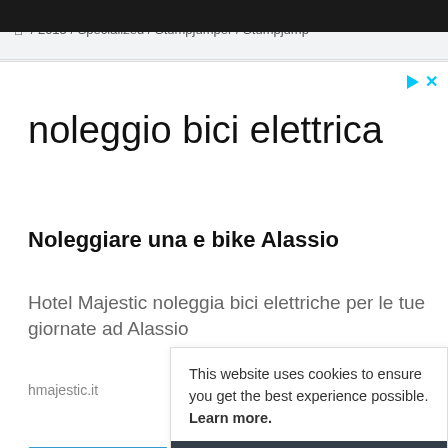🏠 / 2015 / Specialized / Stumpjumper / Stumpjump •••
[Figure (screenshot): Advertisement banner for 'noleggio bici elettrica' (electric bike rental) from hmajestic.it, with ad close/info icons in top right]
noleggio bici elettrica
Noleggiare una e bike Alassio
Hotel Majestic noleggia bici elettriche per le tue giornate ad Alassio
hmajestic.it
This website uses cookies to ensure you get the best experience possible. Learn more.
GOT IT